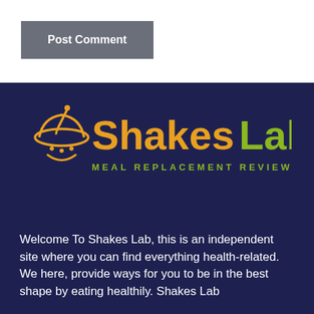Post Comment
[Figure (logo): ShakesLab Meal Replacement Reviews logo with orange shake icon and orange/green text on dark navy background]
Welcome To Shakes Lab, this is an independent site where you can find everything health-related. We here, provide ways for you to be in the best shape by eating healthily. Shakes Lab